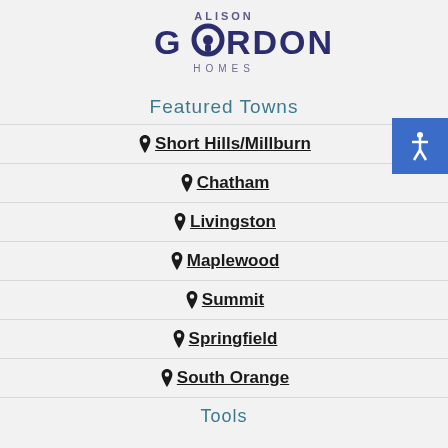[Figure (logo): Alison Gordon Homes logo with keyhole icon in 'O']
Featured Towns
Short Hills/Millburn
Chatham
Livingston
Maplewood
Summit
Springfield
South Orange
Tools